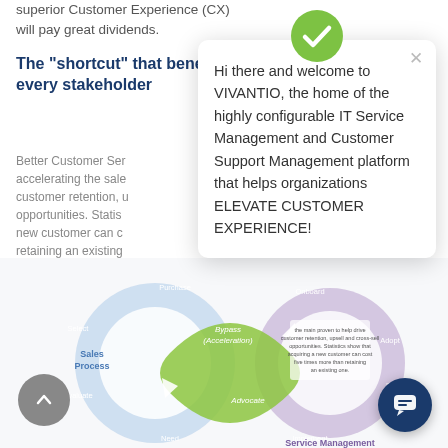superior Customer Experience (CX) will pay great dividends.
The "shortcut" that benefits every stakeholder
Better Customer Service accelerating the sales customer retention, opportunities. Statistics new customer can c retaining an existing
[Figure (infographic): Vivantio chat popup with green checkmark logo. Text: Hi there and welcome to VIVANTIO, the home of the highly configurable IT Service Management and Customer Support Management platform that helps organizations ELEVATE CUSTOMER EXPERIENCE!]
[Figure (infographic): Circular diagram showing Sales Process (blue ring: Need, Evaluate, Select, Purchase) connected via Bypass (Acceleration) green arrow through Advocate to Service Management (purple ring: Onboard, Implement, Use, Engage, Adopt). Labels: Sales Process, Service Management, Bypass (Acceleration).]